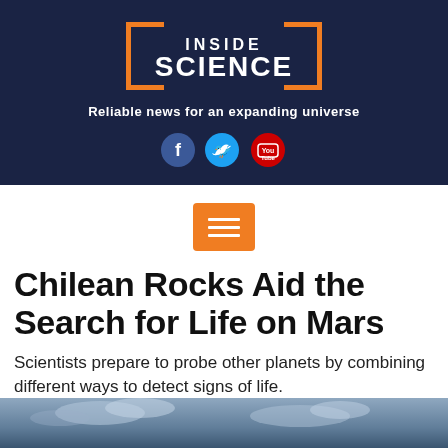[Figure (logo): Inside Science logo with orange bracket frame on dark navy background]
Reliable news for an expanding universe
[Figure (infographic): Social media icons: Facebook, Twitter, YouTube]
[Figure (infographic): Orange hamburger menu button with three horizontal white lines]
Chilean Rocks Aid the Search for Life on Mars
Scientists prepare to probe other planets by combining different ways to detect signs of life.
[Figure (photo): Partial view of a landscape photo at the bottom of the page]